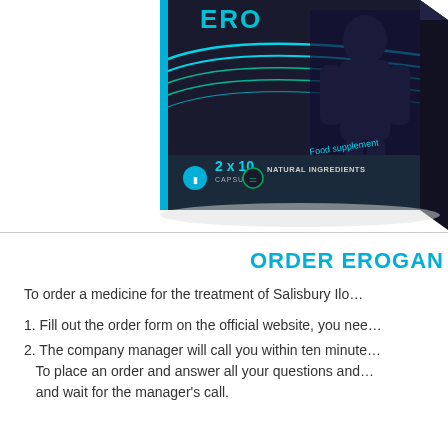[Figure (photo): Product box for Erogan food supplement showing a dark box with teal/cyan wave lines, '2 x 10 CAPSULES', 'NATURAL INGREDIENTS', and 'Food supplement' text. The box has a black background with blue and green accents.]
ORDER EROGAN
To order a medicine for the treatment of Salisbury Ilo...
1. Fill out the order form on the official website, you nee...
2. The company manager will call you within ten minute... To place an order and answer all your questions and ... and wait for the manager's call.